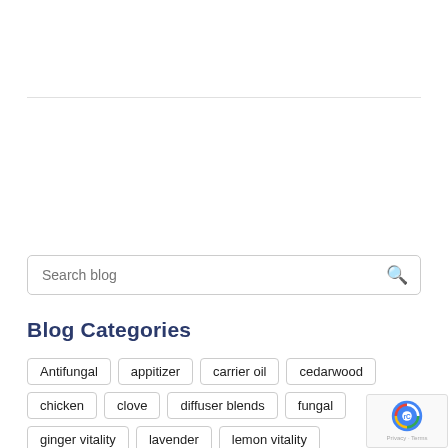[Figure (other): Horizontal divider line separating page sections]
Search blog
Blog Categories
Antifungal
appitizer
carrier oil
cedarwood
chicken
clove
diffuser blends
fungal
ginger vitality
lavender
lemon vitality
Lime Vitality
main meal
Mexican